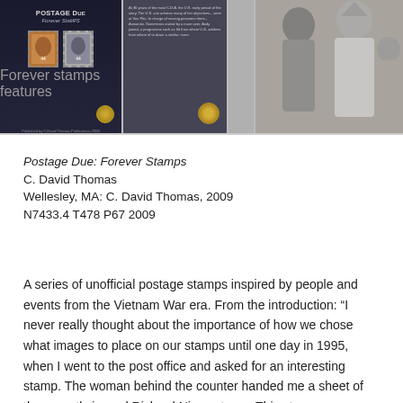[Figure (photo): A composite of photograph panels showing a postage stamp book cover titled 'POSTAGE DUE: Forever Stamps' with stamp images, a dark grey information panel, and a black-and-white photograph of people in military/traditional dress.]
Postage Due: Forever Stamps
C. David Thomas
Wellesley, MA: C. David Thomas, 2009
N7433.4 T478 P67 2009
A series of unofficial postage stamps inspired by people and events from the Vietnam War era. From the introduction: “I never really thought about the importance of how we chose what images to place on our stamps until one day in 1995, when I went to the post office and asked for an interesting stamp. The woman behind the counter handed me a sheet of the recently issued Richard Nixon stamp. This stamp was